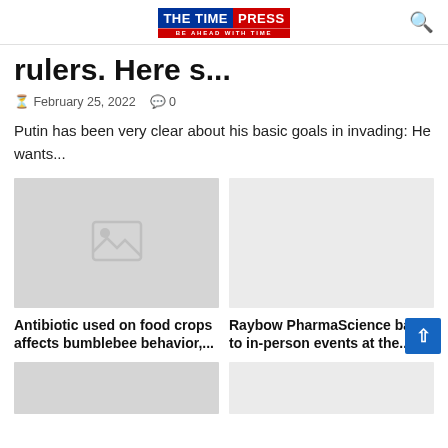[Figure (logo): The Time Press logo with blue and red background, tagline BE AHEAD WITH TIME]
rulers. Here s...
February 25, 2022   🗨 0
Putin has been very clear about his basic goals in invading: He wants...
[Figure (photo): Placeholder image thumbnail with gray background and image icon]
[Figure (photo): Placeholder image thumbnail with light gray background, no icon]
Antibiotic used on food crops affects bumblebee behavior,...
Raybow PharmaScience back to in-person events at the...
[Figure (photo): Partial placeholder image bottom left]
[Figure (photo): Partial placeholder image bottom right]